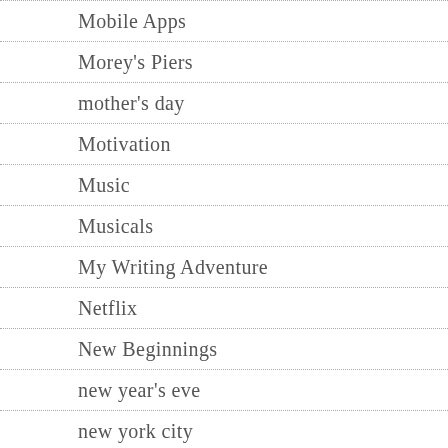Mobile Apps
Morey's Piers
mother's day
Motivation
Music
Musicals
My Writing Adventure
Netflix
New Beginnings
new year's eve
new york city